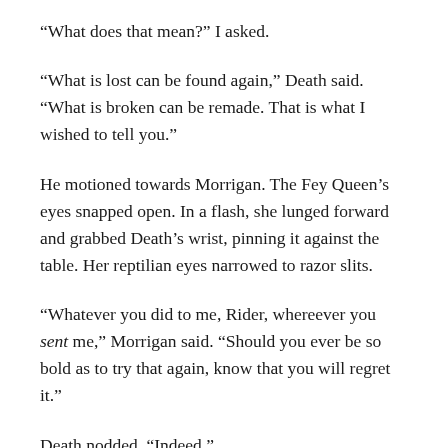“What does that mean?” I asked.
“What is lost can be found again,” Death said. “What is broken can be remade. That is what I wished to tell you.”
He motioned towards Morrigan. The Fey Queen’s eyes snapped open. In a flash, she lunged forward and grabbed Death’s wrist, pinning it against the table. Her reptilian eyes narrowed to razor slits.
“Whatever you did to me, Rider, whereever you sent me,” Morrigan said. “Should you ever be so bold as to try that again, know that you will regret it.”
Death nodded. “Indeed.”
I listened, unsure whether to be frightened or awed by